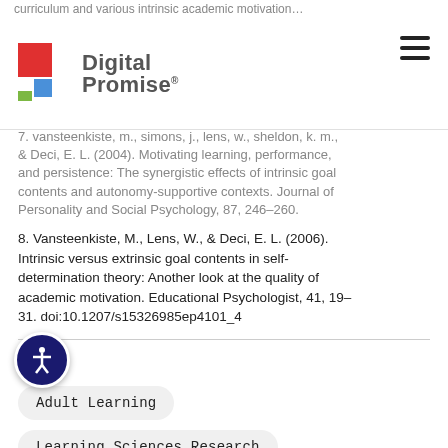Digital Promise
7. Vansteenkiste, M., Simons, J., Lens, W., Sheldon, K. M., & Deci, E. L. (2004). Motivating learning, performance, and persistence: The synergistic effects of intrinsic goal contents and autonomy-supportive contexts. Journal of Personality and Social Psychology, 87, 246–260.
8. Vansteenkiste, M., Lens, W., & Deci, E. L. (2006). Intrinsic versus extrinsic goal contents in self-determination theory: Another look at the quality of academic motivation. Educational Psychologist, 41, 19–31. doi:10.1207/s15326985ep4101_4
Tags
Adult Learning
Learning Sciences Research
Micro-credentials
Reinvent the Classroom